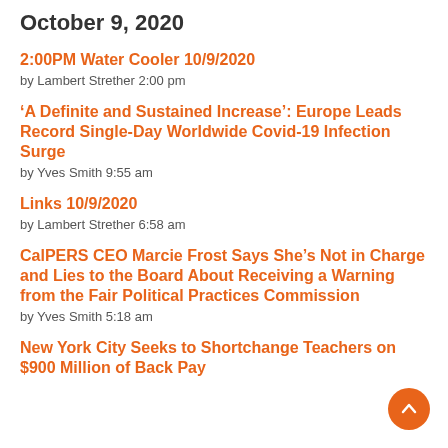October 9, 2020
2:00PM Water Cooler 10/9/2020
by Lambert Strether 2:00 pm
'A Definite and Sustained Increase': Europe Leads Record Single-Day Worldwide Covid-19 Infection Surge
by Yves Smith 9:55 am
Links 10/9/2020
by Lambert Strether 6:58 am
CalPERS CEO Marcie Frost Says She’s Not in Charge and Lies to the Board About Receiving a Warning from the Fair Political Practices Commission
by Yves Smith 5:18 am
New York City Seeks to Shortchange Teachers on $900 Million of Back Pay